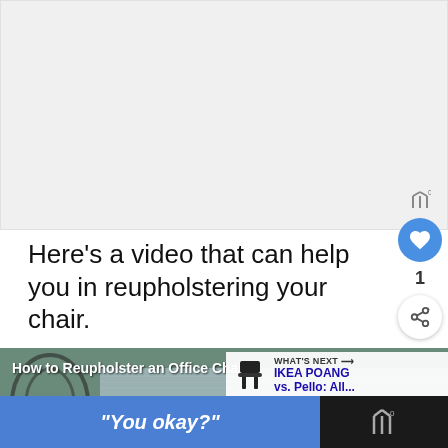[Figure (screenshot): Large blank/light gray area representing a video or image placeholder at the top of the page]
Here's a video that can help you in reupholstering your chair.
[Figure (screenshot): Video thumbnail showing 'How to Reupholster an Office Chair' with a 'WHAT'S NEXT → IKEA POANG vs. Pello: All...' overlay, and text 'Upholstered OFFICE' partially visible. An ad banner at the bottom reads "You okay?"]